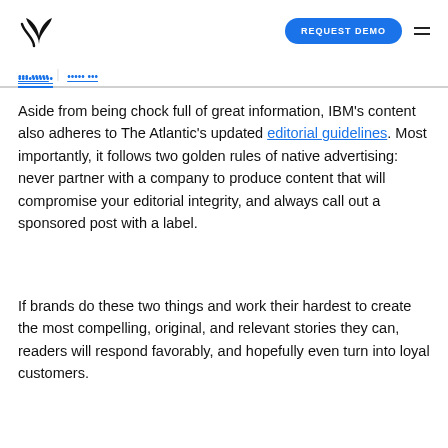REQUEST DEMO
Aside from being chock full of great information, IBM's content also adheres to The Atlantic's updated editorial guidelines. Most importantly, it follows two golden rules of native advertising: never partner with a company to produce content that will compromise your editorial integrity, and always call out a sponsored post with a label.
If brands do these two things and work their hardest to create the most compelling, original, and relevant stories they can, readers will respond favorably, and hopefully even turn into loyal customers.